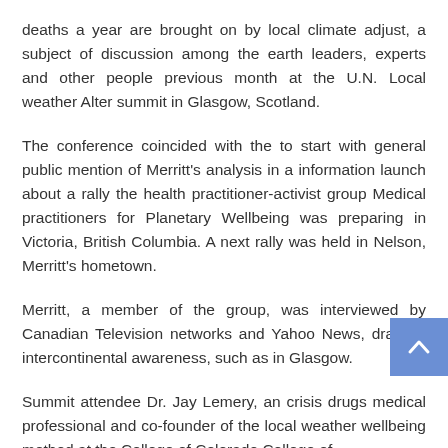deaths a year are brought on by local climate adjust, a subject of discussion among the earth leaders, experts and other people previous month at the U.N. Local weather Alter summit in Glasgow, Scotland.
The conference coincided with the to start with general public mention of Merritt's analysis in a information launch about a rally the health practitioner-activist group Medical practitioners for Planetary Wellbeing was preparing in Victoria, British Columbia. A next rally was held in Nelson, Merritt's hometown.
Merritt, a member of the group, was interviewed by Canadian Television networks and Yahoo News, drawing intercontinental awareness, such as in Glasgow.
Summit attendee Dr. Jay Lemery, an crisis drugs medical professional and co-founder of the local weather wellbeing method at the College of Colorado College of